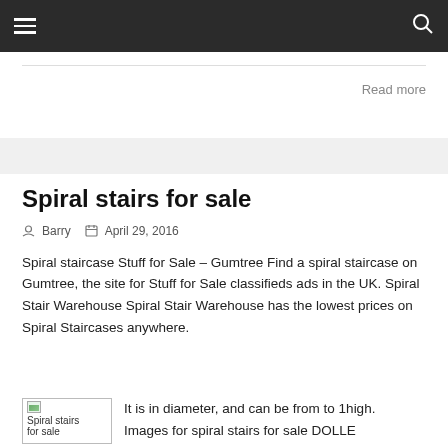≡  🔍
Read more
Spiral stairs for sale
Barry   April 29, 2016
Spiral staircase Stuff for Sale – Gumtree Find a spiral staircase on Gumtree, the site for Stuff for Sale classifieds ads in the UK. Spiral Stair Warehouse Spiral Stair Warehouse has the lowest prices on Spiral Staircases anywhere.
It is in diameter, and can be from to 1high. Images for spiral stairs for sale DOLLE